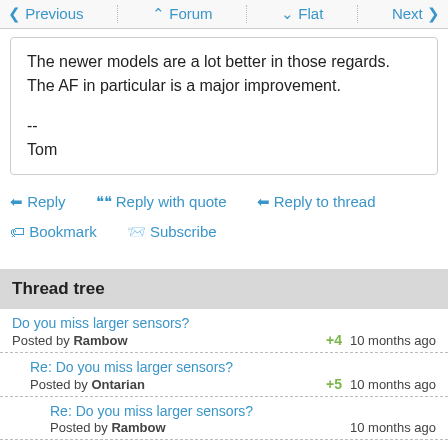< Previous   ^ Forum   v Flat   Next >
The newer models are a lot better in those regards. The AF in particular is a major improvement.

--
Tom
Reply   Reply with quote   Reply to thread
Bookmark   Subscribe
Thread tree
Do you miss larger sensors?
Posted by Rambow   +4   10 months ago
Re: Do you miss larger sensors?
Posted by Ontarian   +5   10 months ago
Re: Do you miss larger sensors?
Posted by Rambow   10 months ago
I don't have to miss anything
Posted by sybersitizen   +1   10 months ago
Re: Do you miss larger sensors?